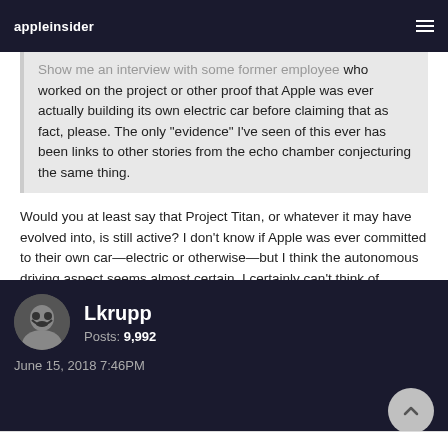appleinsider
who worked on the project or other proof that Apple was ever actually building its own electric car before claiming that as fact, please. The only "evidence" I've seen of this ever has been links to other stories from the echo chamber conjecturing the same thing.
Would you at least say that Project Titan, or whatever it may have evolved into, is still active? I don't know if Apple was ever committed to their own car—electric or otherwise—but I think the autonomous driving aspect seems almost certain. I certainly can't think of anything less than an autonomous driving system for this project.
Lkrupp
Posts: 9,992
June 15, 2018 7:46PM